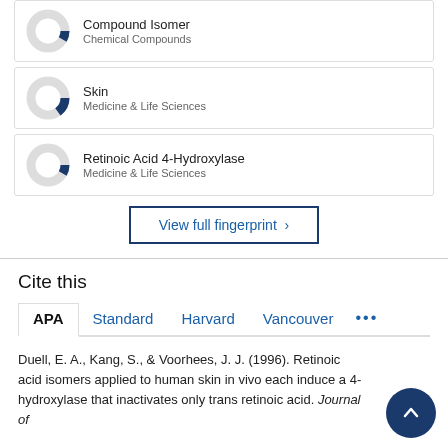[Figure (donut-chart): Partial donut chart for Compound Isomer, Chemical Compounds, approximately 35% filled in dark blue]
Compound Isomer
Chemical Compounds
[Figure (donut-chart): Partial donut chart for Skin, Medicine & Life Sciences, approximately 40% filled in dark blue]
Skin
Medicine & Life Sciences
[Figure (donut-chart): Partial donut chart for Retinoic Acid 4-Hydroxylase, Medicine & Life Sciences, approximately 35% filled in dark blue]
Retinoic Acid 4-Hydroxylase
Medicine & Life Sciences
View full fingerprint ›
Cite this
APA
Standard
Harvard
Vancouver
•••
Duell, E. A., Kang, S., & Voorhees, J. J. (1996). Retinoic acid isomers applied to human skin in vivo each induce a 4-hydroxylase that inactivates only trans retinoic acid. Journal of